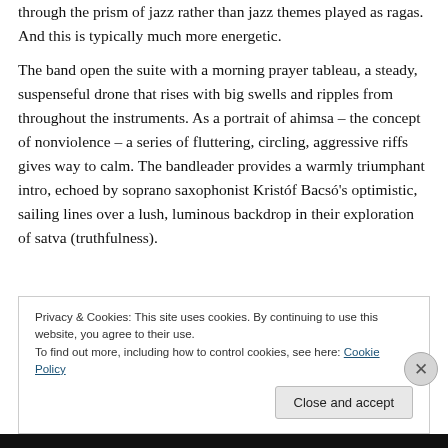through the prism of jazz rather than jazz themes played as ragas. And this is typically much more energetic.
The band open the suite with a morning prayer tableau, a steady, suspenseful drone that rises with big swells and ripples from throughout the instruments. As a portrait of ahimsa – the concept of nonviolence – a series of fluttering, circling, aggressive riffs gives way to calm. The bandleader provides a warmly triumphant intro, echoed by soprano saxophonist Kristóf Bacsó's optimistic, sailing lines over a lush, luminous backdrop in their exploration of satva (truthfulness).
Privacy & Cookies: This site uses cookies. By continuing to use this website, you agree to their use.
To find out more, including how to control cookies, see here: Cookie Policy
Close and accept